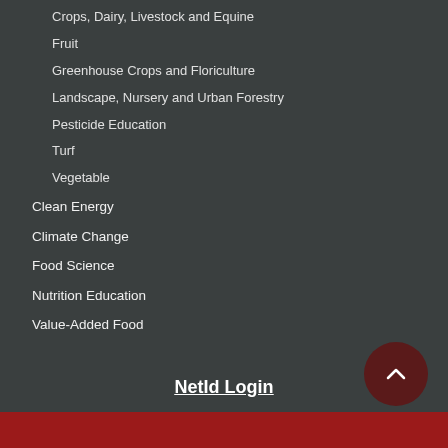Crops, Dairy, Livestock and Equine
Fruit
Greenhouse Crops and Floriculture
Landscape, Nursery and Urban Forestry
Pesticide Education
Turf
Vegetable
Clean Energy
Climate Change
Food Science
Nutrition Education
Value-Added Food
NetId Login